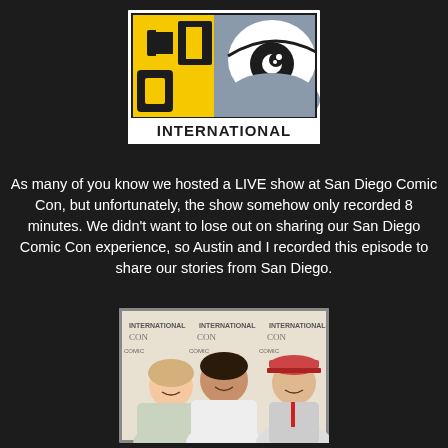[Figure (logo): Comic-Con International logo with stylized eye graphic and yellow CON text on gray background, with INTERNATIONAL text below in bold black]
As many of you know we hosted a LIVE show at San Diego Comic Con, but unfortunately, the show somehow only recorded 8 minutes. We didn't want to lose out on sharing our San Diego Comic Con experience, so Austin and I recorded this episode to share our stories from San Diego.
[Figure (photo): Three people posing in front of a Comic-Con International banner/backdrop: a woman on the left, a man in the middle, and a man wearing a baseball cap on the right]